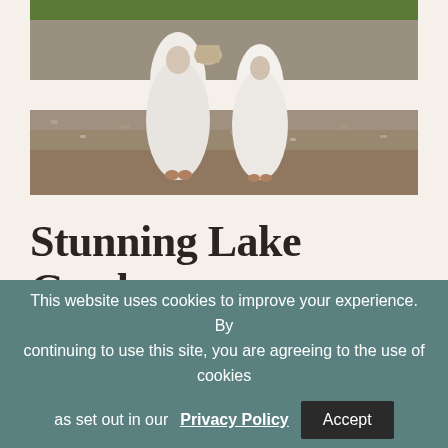[Figure (photo): Wedding photo showing two figures in white dresses walking on a gravel path, viewed from behind, with greenery visible at top]
Stunning Lake Garda Wedding
June 1, 2018  ·  Wedding Casestudy
This website uses cookies to improve your experience. By continuing to use this site, you are agreeing to the use of cookies as set out in our Privacy Policy  Accept